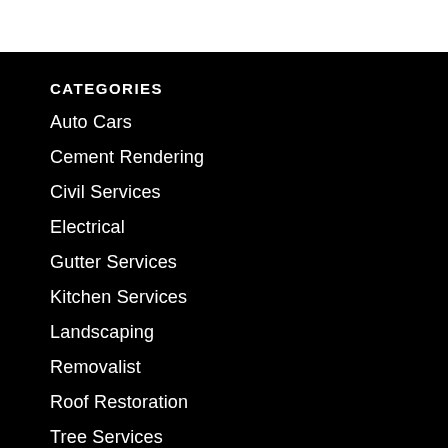CATEGORIES
Auto Cars
Cement Rendering
Civil Services
Electrical
Gutter Services
Kitchen Services
Landscaping
Removalist
Roof Restoration
Tree Services
RECENT POSTS